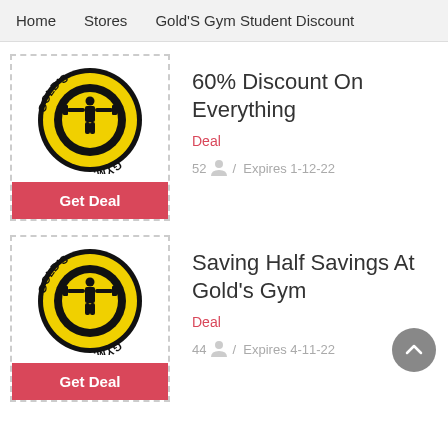Home  Stores  Gold'S Gym Student Discount
[Figure (logo): Gold's Gym circular logo - yellow and black with weightlifter silhouette]
60% Discount On Everything
Deal
52  /  Expires 1-12-22
[Figure (logo): Gold's Gym circular logo - yellow and black with weightlifter silhouette]
Saving Half Savings At Gold's Gym
Deal
44  /  Expires 4-11-22